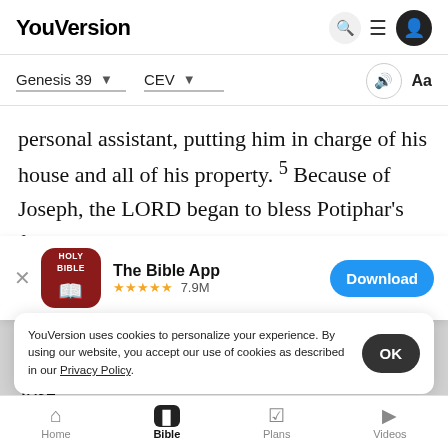YouVersion
Genesis 39   CEV
personal assistant, putting him in charge of his house and all of his property. 5 Because of Joseph, the Lord began to bless Potiphar's family and
[Figure (screenshot): App download banner: The Bible App, 4.9 stars, 7.9M ratings, Download button]
Joseph there, the only decision he had to make w...
Jose...
YouVersion uses cookies to personalize your experience. By using our website, you accept our use of cookies as described in our Privacy Policy.
Home  Bible  Plans  Videos